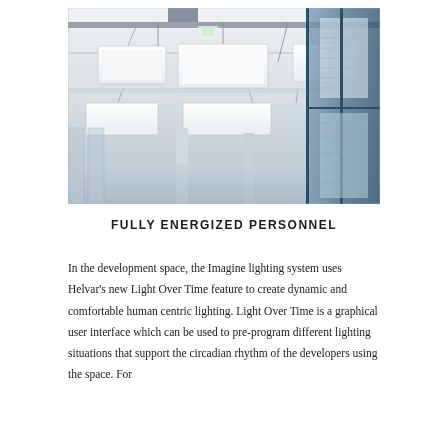[Figure (photo): Interior office space showing suspended rectangular LED light panels hanging from a white ceiling with exposed ductwork. Blue window frames visible on the right side of the image. Open plan office environment with columns and partitions visible in the background.]
FULLY ENERGIZED PERSONNEL
In the development space, the Imagine lighting system uses Helvar's new Light Over Time feature to create dynamic and comfortable human centric lighting. Light Over Time is a graphical user interface which can be used to pre-program different lighting situations that support the circadian rhythm of the developers using the space. For